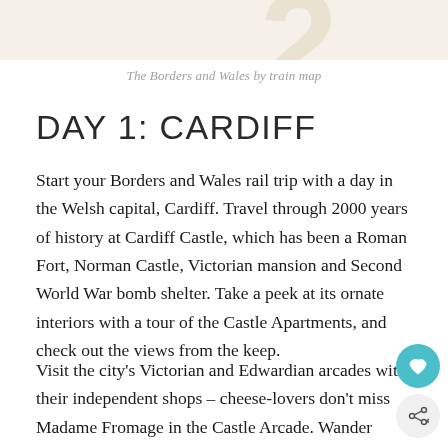[Figure (illustration): Decorative tan/beige number or shape at the top of the page, partially visible]
The Borders and Wales by train map
DAY 1: CARDIFF
Start your Borders and Wales rail trip with a day in the Welsh capital, Cardiff. Travel through 2000 years of history at Cardiff Castle, which has been a Roman Fort, Norman Castle, Victorian mansion and Second World War bomb shelter. Take a peek at its ornate interiors with a tour of the Castle Apartments, and check out the views from the keep.
Visit the city’s Victorian and Edwardian arcades with their independent shops – cheese-lovers don’t miss Madame Fromage in the Castle Arcade. Wander